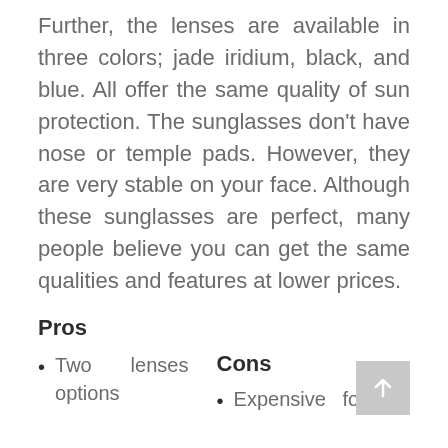Further, the lenses are available in three colors; jade iridium, black, and blue. All offer the same quality of sun protection. The sunglasses don't have nose or temple pads. However, they are very stable on your face. Although these sunglasses are perfect, many people believe you can get the same qualities and features at lower prices.
Pros
Two lenses options
Cons
Expensive for